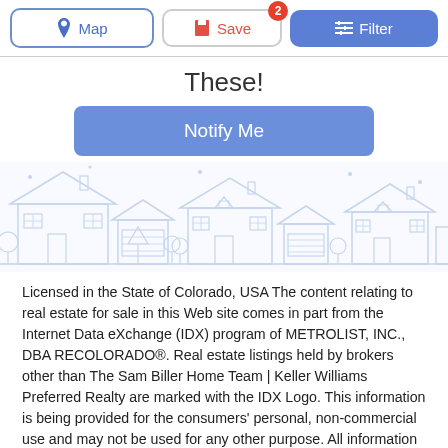Map | Save (2) | Filter
These!
[Figure (other): Blue 'Notify Me' button]
[Figure (illustration): Light blue outline illustration of suburban houses/neighborhood]
Licensed in the State of Colorado, USA The content relating to real estate for sale in this Web site comes in part from the Internet Data eXchange (IDX) program of METROLIST, INC., DBA RECOLORADO®. Real estate listings held by brokers other than The Sam Biller Home Team | Keller Williams Preferred Realty are marked with the IDX Logo. This information is being provided for the consumers' personal, non-commercial use and may not be used for any other purpose. All information subject to change and should be independently verified. 1. This publication is designed to provide information regarding the subject matter covered. It is displayed with the understanding that the publisher and authors are not engaged in rendering real estate, legal, accounting, tax, or other professional